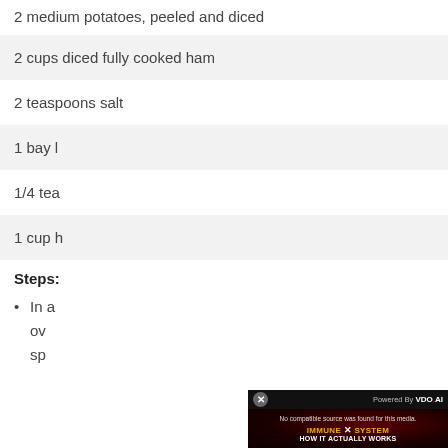2 medium potatoes, peeled and diced
2 cups diced fully cooked ham
2 teaspoons salt
1 bay l[eaf] (partially obscured)
1/4 tea[spoon] (partially obscured)
1 cup h[eavy cream] (partially obscured)
Steps:
In a [large pot] ove[r medium heat,] spo[on...] (partially obscured by video overlay)
[Figure (screenshot): Video ad popup from VDO.AI showing 'No compatible source was found for this media.' with dark red background and text 'IMMUNE SYSTEM HOW IT ACTUALLY WORKS'. A close button (x) is visible in the top-left corner. 'Powered By VDO.AI' text is in the top-right.]